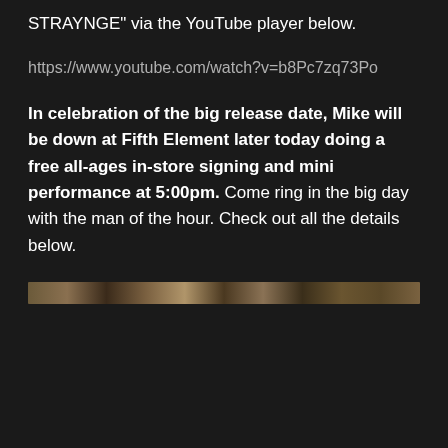STRAYNGE" via the YouTube player below.
https://www.youtube.com/watch?v=b8Pc7zq73Po
In celebration of the big release date, Mike will be down at Fifth Element later today doing a free all-ages in-store signing and mini performance at 5:00pm. Come ring in the big day with the man of the hour. Check out all the details below.
[Figure (photo): A horizontal strip showing what appears to be a dark textured surface or album art, running across the width of the page.]